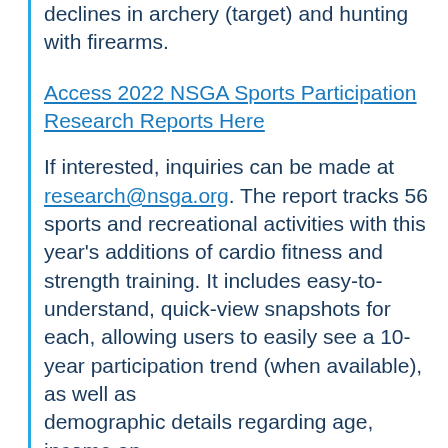declines in archery (target) and hunting with firearms.
Access 2022 NSGA Sports Participation Research Reports Here
If interested, inquiries can be made at research@nsga.org. The report tracks 56 sports and recreational activities with this year's additions of cardio fitness and strength training. It includes easy-to-understand, quick-view snapshots for each, allowing users to easily see a 10-year participation trend (when available), as well as demographic details regarding age, income and U.S. region. NSGA's participation research